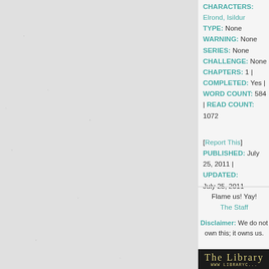CHARACTERS: Elrond, Isildur
TYPE: None
WARNING: None
SERIES: None
CHALLENGE: None
CHAPTERS: 1 | COMPLETED: Yes |
WORD COUNT: 584 | READ COUNT:
1072
[Report This]
PUBLISHED: July 25, 2011 | UPDATED:
July 25, 2011
Flame us! Yay!
The Staff
Disclaimer: We do not own this; it owns us.
[Figure (logo): Black banner with cream/yellow decorative text reading 'THE LIBRARY' and subtitle 'WWW LIBRARYC...']